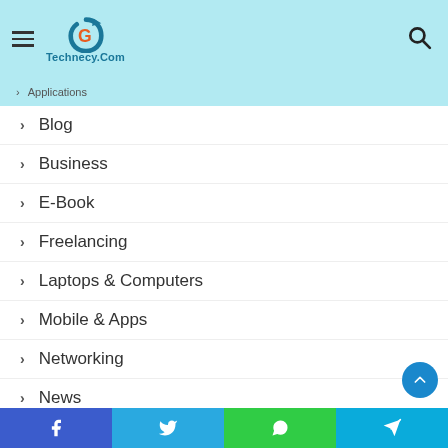Technecy.Com
Applications
Blog
Business
E-Book
Freelancing
Laptops & Computers
Mobile & Apps
Networking
News
Social Media
Technology
Facebook | Twitter | WhatsApp | Telegram